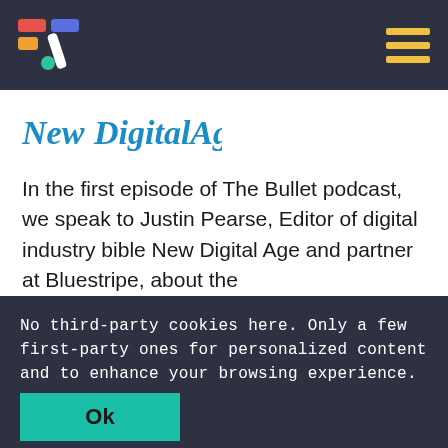[Figure (logo): App logo: colorful abstract icon with colored rectangles and a dot, white slash on dark background]
[Figure (logo): Hamburger menu icon: three yellow horizontal bars]
[Figure (logo): NewDigitalAge logo in teal/blue italic and bold font]
In the first episode of The Bullet podcast, we speak to Justin Pearse, Editor of digital industry bible New Digital Age and partner at Bluestripe, about the
No third-party cookies here. Only a few first-party ones for personalized content and to enhance your browsing experience.
Ok